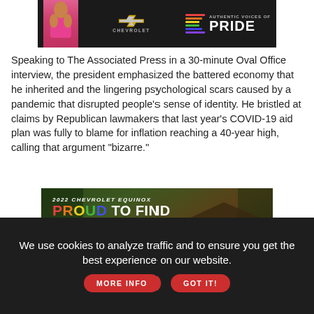[Figure (illustration): Chevrolet advertisement banner with woman on left, Chevrolet bowtie logo, and 'Authentic Voices of Pride' text with rainbow bars on dark background]
Speaking to The Associated Press in a 30-minute Oval Office interview, the president emphasized the battered economy that he inherited and the lingering psychological scars caused by a pandemic that disrupted people's sense of identity. He bristled at claims by Republican lawmakers that last year's COVID-19 aid plan was fully to blame for inflation reaching a 40-year high, calling that argument "bizarre."
[Figure (illustration): 2022 Chevrolet Equinox advertisement with text 'PROUD TO FIND NEW ROADS' on forest/house background with red car]
We use cookies to analyze traffic and to ensure you get the best experience on our website. MORE INFO  GOT IT!